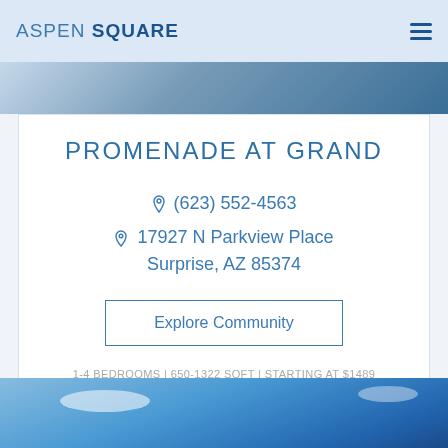ASPEN SQUARE
[Figure (photo): Partial photo of outdoor structure with blue sky, top of page]
PROMENADE AT GRAND
(623) 552-4563
17927 N Parkview Place Surprise, AZ 85374
Explore Community
1-4 BEDROOMS | 650-1322 SQFT | STARTING AT $1489
[Figure (photo): Outdoor photo with blue sky and clouds, bottom of page]